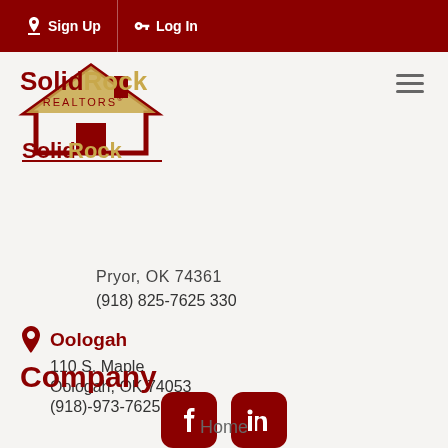Sign Up  Log In
[Figure (logo): Solid Rock Realtors logo with house icon in dark red and gold]
Pryor, OK 74361
(918) 825-7625 330
Oologah
110 S. Maple
Oologah, OK 74053
(918)-973-7625
[Figure (illustration): Facebook and LinkedIn social media icon buttons in dark red rounded squares]
Company
Home